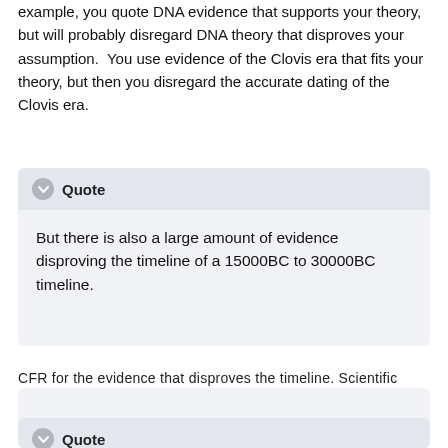example, you quote DNA evidence that supports your theory, but will probably disregard DNA theory that disproves your assumption.  You use evidence of the Clovis era that fits your theory, but then you disregard the accurate dating of the Clovis era.
Quote
But there is also a large amount of evidence disproving the timeline of a 15000BC to 30000BC timeline.
CFR for the evidence that disproves the timeline. Scientific evidence, not opinion, not scripture, but real scientific evidence.
Quote